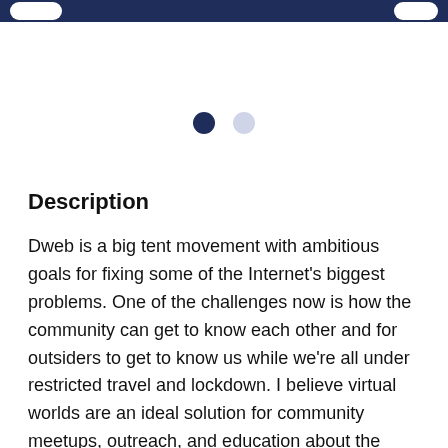[Figure (other): Pagination dots: one filled dark navy dot and one light grey dot indicating a two-page carousel, first page active]
Description
Dweb is a big tent movement with ambitious goals for fixing some of the Internet's biggest problems. One of the challenges now is how the community can get to know each other and for outsiders to get to know us while we're all under restricted travel and lockdown. I believe virtual worlds are an ideal solution for community meetups, outreach, and education about the space. We can incubate